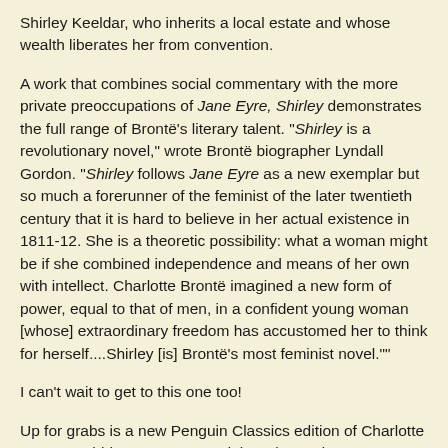Shirley Keeldar, who inherits a local estate and whose wealth liberates her from convention.
A work that combines social commentary with the more private preoccupations of Jane Eyre, Shirley demonstrates the full range of Brontë's literary talent. "Shirley is a revolutionary novel," wrote Brontë biographer Lyndall Gordon. "Shirley follows Jane Eyre as a new exemplar but so much a forerunner of the feminist of the later twentieth century that it is hard to believe in her actual existence in 1811-12. She is a theoretic possibility: what a woman might be if she combined independence and means of her own with intellect. Charlotte Brontë imagined a new form of power, equal to that of men, in a confident young woman [whose] extraordinary freedom has accustomed her to think for herself....Shirley [is] Brontë's most feminist novel.""
I can't wait to get to this one too!
Up for grabs is a new Penguin Classics edition of Charlotte Bronte's Shirley. To enter, read the rules and comment below!